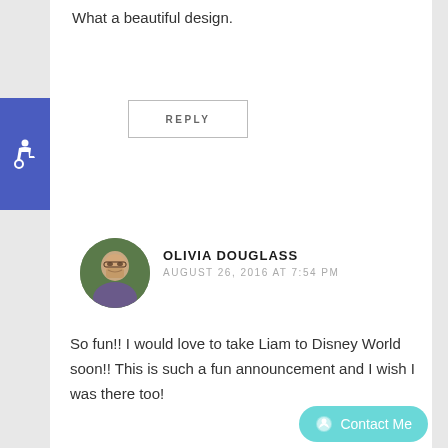What a beautiful design.
REPLY
[Figure (illustration): Blue accessibility/wheelchair icon badge on left edge]
[Figure (photo): Circular avatar photo of Olivia Douglass, a woman with glasses and brown hair]
OLIVIA DOUGLASS
AUGUST 26, 2016 AT 7:54 PM
So fun!! I would love to take Liam to Disney World soon!! This is such a fun announcement and I wish I was there too!
REPLY
Leave a Reply to
amer Cancel reply